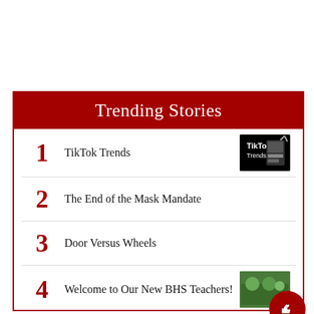Trending Stories
1 TikTok Trends
2 The End of the Mask Mandate
3 Door Versus Wheels
4 Welcome to Our New BHS Teachers!